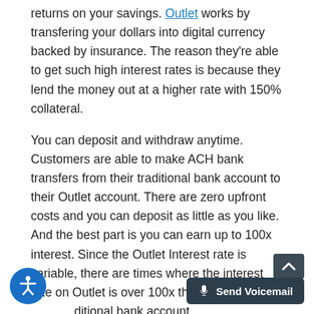returns on your savings. Outlet works by transfering your dollars into digital currency backed by insurance. The reason they're able to get such high interest rates is because they lend the money out at a higher rate with 150% collateral.
You can deposit and withdraw anytime. Customers are able to make ACH bank transfers from their traditional bank account to their Outlet account. There are zero upfront costs and you can deposit as little as you like. And the best part is you can earn up to 100x interest. Since the Outlet Interest rate is variable, there are times where the interest rate on Outlet is over 100x the average of a traditional bank account.